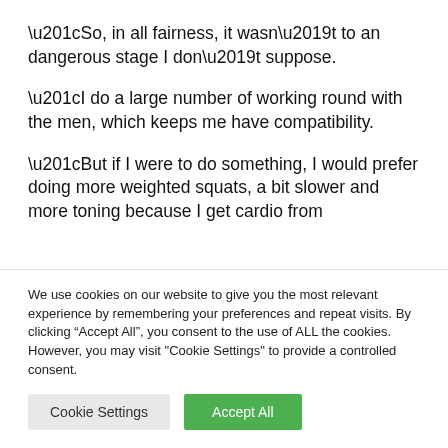“So, in all fairness, it wasn’t to an dangerous stage I don’t suppose.
“I do a large number of working round with the men, which keeps me have compatibility.
“But if I were to do something, I would prefer doing more weighted squats, a bit slower and more toning because I get cardio from
We use cookies on our website to give you the most relevant experience by remembering your preferences and repeat visits. By clicking “Accept All”, you consent to the use of ALL the cookies. However, you may visit "Cookie Settings" to provide a controlled consent.